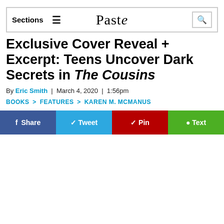Sections ≡  Paste  🔍
Exclusive Cover Reveal + Excerpt: Teens Uncover Dark Secrets in The Cousins
By Eric Smith | March 4, 2020 | 1:56pm
BOOKS > FEATURES > KAREN M. MCMANUS
Share  Tweet  Pin  Text